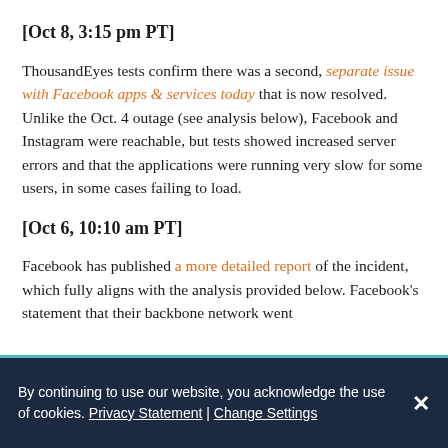[Oct 8, 3:15 pm PT]
ThousandEyes tests confirm there was a second, separate issue with Facebook apps & services today that is now resolved. Unlike the Oct. 4 outage (see analysis below), Facebook and Instagram were reachable, but tests showed increased server errors and that the applications were running very slow for some users, in some cases failing to load.
[Oct 6, 10:10 am PT]
Facebook has published a more detailed report of the incident, which fully aligns with the analysis provided below. Facebook’s statement that their backbone network went
By continuing to use our website, you acknowledge the use of cookies. Privacy Statement | Change Settings